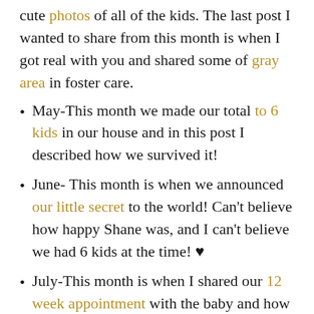cute photos of all of the kids. The last post I wanted to share from this month is when I got real with you and shared some of gray area in foster care.
May-This month we made our total to 6 kids in our house and in this post I described how we survived it!
June- This month is when we announced our little secret to the world! Can't believe how happy Shane was, and I can't believe we had 6 kids at the time! ♥
July-This month is when I shared our 12 week appointment with the baby and how things were going at this time!
August- I am still in shock that Gracelynn is now forever ours, but this post is the day that